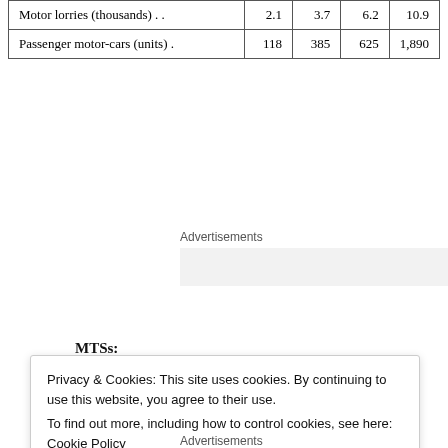| Motor lorries (thousands) . . | 2.1 | 3.7 | 6.2 | 10.9 |
| Passenger motor-cars (units) . | 118 | 385 | 625 | 1,890 |
Advertisements
MTSs:
Privacy & Cookies: This site uses cookies. By continuing to use this website, you agree to their use.
To find out more, including how to control cookies, see here: Cookie Policy
Close and accept
Advertisements